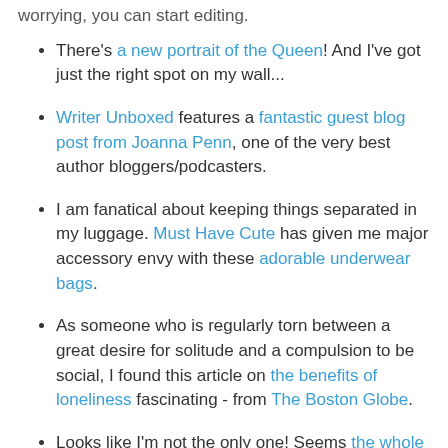worrying, you can start editing.
There's a new portrait of the Queen! And I've got just the right spot on my wall...
Writer Unboxed features a fantastic guest blog post from Joanna Penn, one of the very best author bloggers/podcasters.
I am fanatical about keeping things separated in my luggage. Must Have Cute has given me major accessory envy with these adorable underwear bags.
As someone who is regularly torn between a great desire for solitude and a compulsion to be social, I found this article on the benefits of loneliness fascinating - from The Boston Globe.
Looks like I'm not the only one! Seems the whole world is becoming phone-phobic.
Problogger sets out the benfits of finding a blogging niche (if only I could follow his excellent advice!).